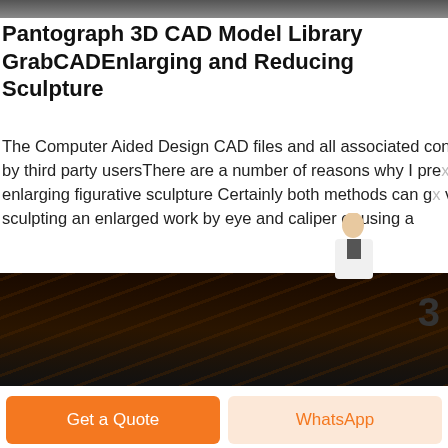[Figure (photo): Dark top banner image, appears to be a dark gradient bar at the top of the page]
Pantograph 3D CAD Model Library GrabCADEnlarging and Reducing Sculpture
The Computer Aided Design CAD files and all associated content posted to this website are created uploaded managed and owned by third party usersThere are a number of reasons why I prefer the 3 d pantograph over the current cnc milling technology for enlarging figurative sculpture Certainly both methods can give a very accurate copy of the sculptor s work and save the sculptor hours of sculpting an enlarged work by eye and caliper or using a
[Figure (other): Blue 24/7 online button with arrow circle icon]
[Figure (photo): Dark bottom image showing wood or metal rods/bars in low light, number 3 visible to the right]
[Figure (other): Get a Quote orange button and WhatsApp button at the bottom]